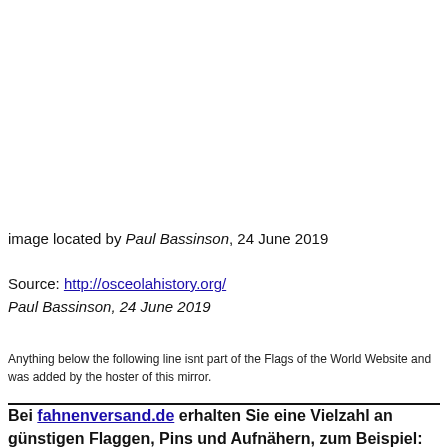image located by Paul Bassinson, 24 June 2019
Source: http://osceolahistory.org/
Paul Bassinson, 24 June 2019
Anything below the following line isnt part of the Flags of the World Website and was added by the hoster of this mirror.
Bei fahnenversand.de erhalten Sie eine Vielzahl an günstigen Flaggen, Pins und Aufnähern, zum Beispiel: